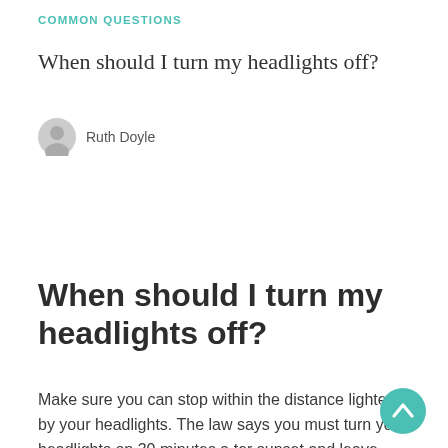COMMON QUESTIONS
When should I turn my headlights off?
Ruth Doyle
When should I turn my headlights off?
Make sure you can stop within the distance lighted by your headlights. The law says you must turn your headlights on 30 minutes after sunset and leave them on until 30 minutes before sunrise. You must turn your lights on